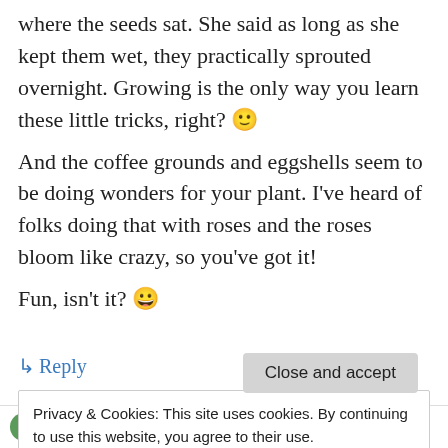where the seeds sat. She said as long as she kept them wet, they practically sprouted overnight. Growing is the only way you learn these little tricks, right? 🙂
And the coffee grounds and eggshells seem to be doing wonders for your plant. I've heard of folks doing that with roses and the roses bloom like crazy, so you've got it!
Fun, isn't it? 😀
↳ Reply
Privacy & Cookies: This site uses cookies. By continuing to use this website, you agree to their use.
To find out more, including how to control cookies, see here: Cookie Policy
Close and accept
Mom Photographer (@MomPhotographer) on March